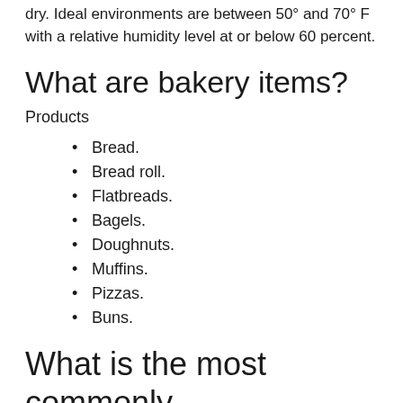dry. Ideal environments are between 50° and 70° F with a relative humidity level at or below 60 percent.
What are bakery items?
Products
Bread.
Bread roll.
Flatbreads.
Bagels.
Doughnuts.
Muffins.
Pizzas.
Buns.
What is the most commonly